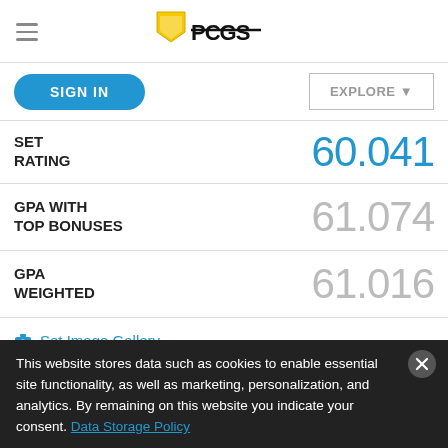PCGS (Professional Coin Grading Service) — navigation header with hamburger menu and PCGS logo
SIGN IN | EXPLORE ▼
SET RATING: 60.041
GPA WITH TOP BONUSES: 61.074
GPA WEIGHTED: 61.016
📷 Set Image Gallery
View 2 comments or add yours
This website stores data such as cookies to enable essential site functionality, as well as marketing, personalization, and analytics. By remaining on this website you indicate your consent. Data Storage Policy
composed of eight different changes of groups. While...